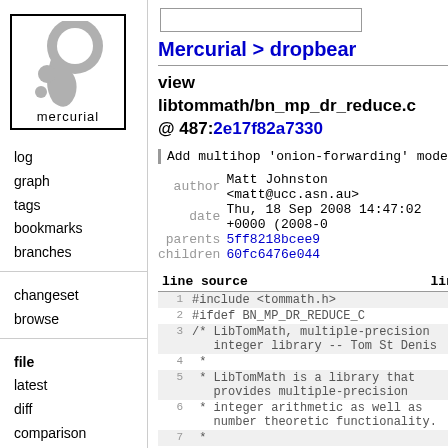[Figure (logo): Mercurial logo — grey comma/apostrophe shape with dots, inside a black-bordered box, labeled 'mercurial']
log
graph
tags
bookmarks
branches
changeset
browse
file
latest
diff
comparison
annotate
file log
raw
Mercurial > dropbear
view libtommath/bn_mp_dr_reduce.c @ 487:2e17f82a7330
Add multihop 'onion-forwarding' mode. Need
| label | value |
| --- | --- |
| author | Matt Johnston <matt@ucc.asn.au> |
| date | Thu, 18 Sep 2008 14:47:02 +0000 (2008-0 |
| parents | 5ff8218bcee9 |
| children | 60fc6476e044 |
| line | source | line wrap |
| --- | --- | --- |
| 1 | #include <tommath.h> |  |
| 2 | #ifdef BN_MP_DR_REDUCE_C |  |
| 3 | /* LibTomMath, multiple-precision integer library -- Tom St Denis |  |
| 4 | * |  |
| 5 | * LibTomMath is a library that provides multiple-precision |  |
| 6 | * integer arithmetic as well as number theoretic functionality. |  |
| 7 | * |  |
| 8 | * The library was designed |  |